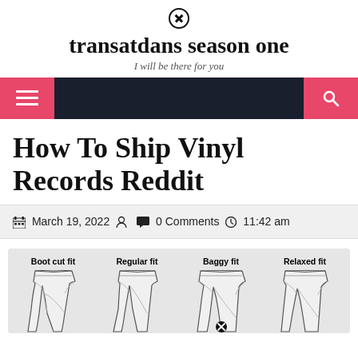transatdans season one — I will be there for you
[Figure (screenshot): Navigation bar with hamburger menu on left (pink background) and search icon on right (pink background) on dark navy background]
How To Ship Vinyl Records Reddit
March 19, 2022  0 Comments  11:42 am
[Figure (illustration): Four jeans fit illustrations: Boot cut fit, Regular fit, Baggy fit, Relaxed fit — line drawings of the upper portion of jeans showing different silhouettes]